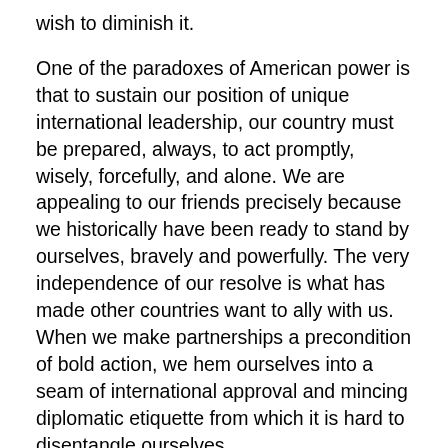wish to diminish it.
One of the paradoxes of American power is that to sustain our position of unique international leadership, our country must be prepared, always, to act promptly, wisely, forcefully, and alone. We are appealing to our friends precisely because we historically have been ready to stand by ourselves, bravely and powerfully. The very independence of our resolve is what has made other countries want to ally with us. When we make partnerships a precondition of bold action, we hem ourselves into a seam of international approval and mincing diplomatic etiquette from which it is hard to disentangle ourselves.
The stance our nation takes on the world stage is not developed to win friends and be well-loved. Of course, many of our actions, such as the Berlin Airlift and the Marshall Plan and our gifts of food and medicine to the developing world have wedded our interests and our moral convictions, which have won us friends and created loyalties from which we have benefitted greatly.
Instead, our objectives should be clear and never in doubt: We want to be respected by our friends and feared by our